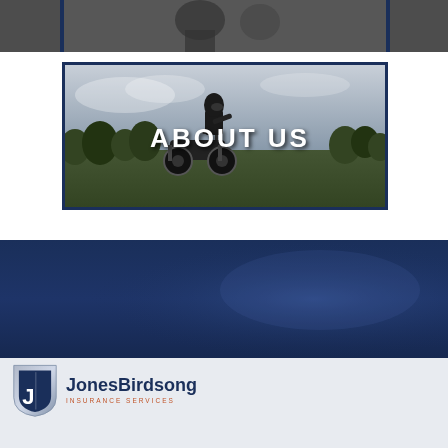[Figure (photo): Partially visible grayscale photo at top of page, appears to show a person]
[Figure (photo): Grayscale banner image showing a person on an ATV/quad bike with 'ABOUT US' text overlay]
[Figure (photo): Dark navy blue banner section with subtle gradient and light effects]
[Figure (logo): JonesBirdsong Insurance Services logo with shield icon and company name]
JONES BIRDSONG
DIVISION OF SPECIALTY PROGRAM GROUP, LLC
600 MARKET STREET, SUITE 210 CHANHASSEN, MN 55317
PHONE: [phone number partially visible]